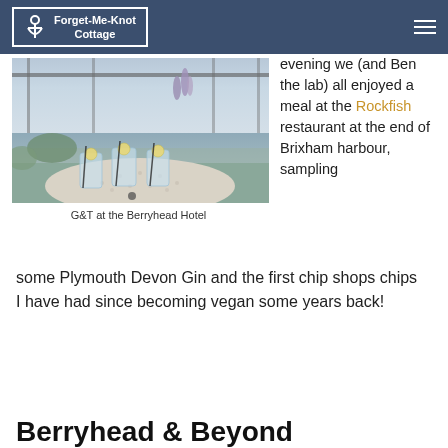Forget-Me-Knot Cottage
[Figure (photo): Photo of gin and tonic glasses on a decorative white table at the Berryhead Hotel, with a coastal sea view in the background and wildflowers visible]
G&T at the Berryhead Hotel
evening we (and Ben the lab) all enjoyed a meal at the Rockfish restaurant at the end of Brixham harbour, sampling some Plymouth Devon Gin and the first chip shops chips I have had since becoming vegan some years back!
Berryhead & Beyond